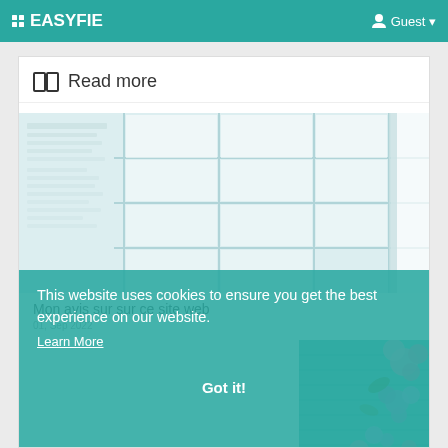EASYFIE  Guest
Read more
[Figure (photo): Interior room with large grid window panels, light teal/white tones]
Mon avis sur sur ce site web
01, Sep 2022
[Figure (photo): Pink and purple flowers on a teal wooden background]
This website uses cookies to ensure you get the best experience on our website.
Learn More
Got it!